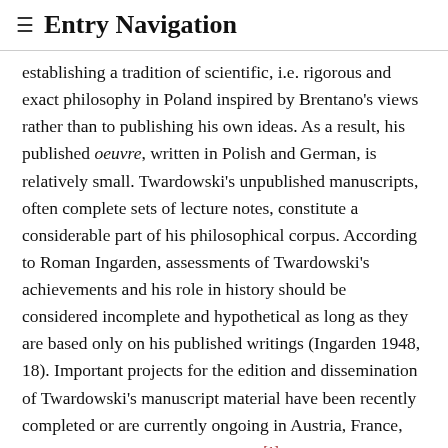≡ Entry Navigation
establishing a tradition of scientific, i.e. rigorous and exact philosophy in Poland inspired by Brentano's views rather than to publishing his own ideas. As a result, his published oeuvre, written in Polish and German, is relatively small. Twardowski's unpublished manuscripts, often complete sets of lecture notes, constitute a considerable part of his philosophical corpus. According to Roman Ingarden, assessments of Twardowski's achievements and his role in history should be considered incomplete and hypothetical as long as they are based only on his published writings (Ingarden 1948, 18). Important projects for the edition and dissemination of Twardowski's manuscript material have been recently completed or are currently ongoing in Austria, France, Poland, Italy, and the Netherlands.[1]
Twardowski was a sharp thinker and a writer of exemplary clarity. He wrote on signs, on meaning and reference, and on indexicality and truth, defending a non-platonistic view of time-independent truth; he wrote on the metaphysics of parts and wholes, on ethics, on the